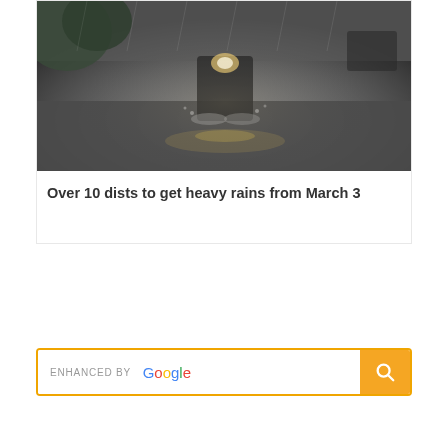[Figure (photo): A motorcyclist riding through a flooded road in heavy rain, water splashing around the tires, dark rainy atmosphere]
Over 10 dists to get heavy rains from March 3
[Figure (screenshot): Enhanced by Google search bar with orange/yellow border and search button]